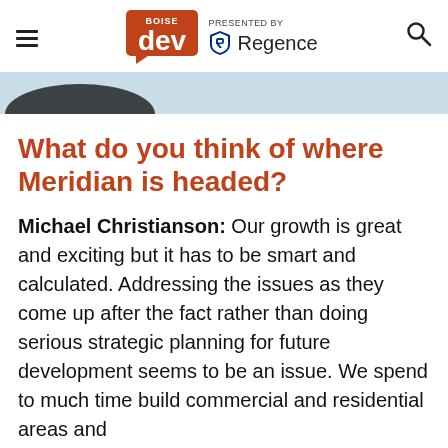BoiseDev | PRESENTED BY Regence
[Figure (photo): Partial photograph visible at bottom of header image strip area, showing a dark silhouette against a light blue background]
What do you think of where Meridian is headed?
Michael Christianson: Our growth is great and exciting but it has to be smart and calculated. Addressing the issues as they come up after the fact rather than doing serious strategic planning for future development seems to be an issue. We spend to much time build commercial and residential areas and